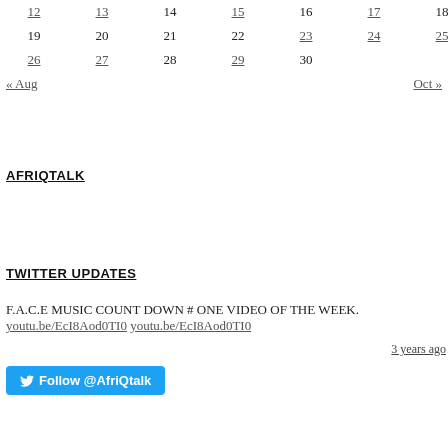| 12 | 13 | 14 | 15 | 16 | 17 | 18 |
| 19 | 20 | 21 | 22 | 23 | 24 | 25 |
| 26 | 27 | 28 | 29 | 30 |  |  |
« Aug    Oct »
AFRIQTALK
TWITTER UPDATES
F.A.C.E MUSIC COUNT DOWN # ONE VIDEO OF THE WEEK.
youtu.be/EcI8Aod0TI0 youtu.be/EcI8Aod0TI0
3 years ago
Follow @AfriQtalk